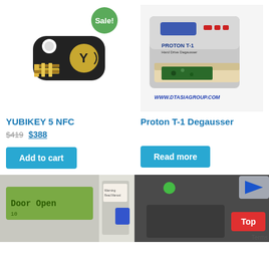[Figure (photo): YubiKey 5 NFC USB security key, black with gold USB connector and gold Yubico logo. Green 'Sale!' badge in top right corner.]
[Figure (photo): Proton T-1 Degausser machine, white/grey box with control panel and open drawer. Website URL www.dtasiagroup.com visible.]
YUBIKEY 5 NFC
$419 $388
Add to cart
Proton T-1 Degausser
Read more
[Figure (photo): Close-up of a green LCD display showing 'Door Open' text on a security device.]
[Figure (photo): Dark grey panel with green indicator light, red 'Top' button overlay, and partial blue logo visible.]